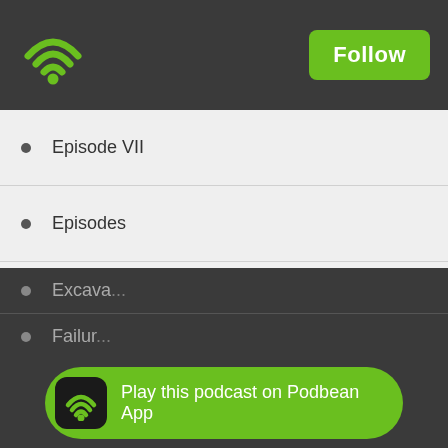Podbean podcast app header with wifi logo and Follow button
Episode VII
Episodes
Ernest Cline
ET
ET the Extra Terrestrial
ET the Game
Ewan MacGregor
Ewoks. Movie
Excava...
Failur...
Play this podcast on Podbean App